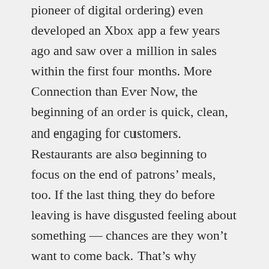pioneer of digital ordering) even developed an Xbox app a few years ago and saw over a million in sales within the first four months. More Connection than Ever Now, the beginning of an order is quick, clean, and engaging for customers. Restaurants are also beginning to focus on the end of patrons' meals, too. If the last thing they do before leaving is have disgusted feeling about something — chances are they won't want to come back. That's why businesses are looking at their garbage — and IoT — to further connect with customers and end meals on a cleaner note. At-The-Source Trash Compactors